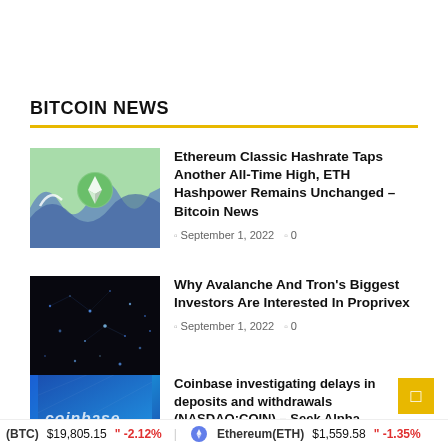BITCOIN NEWS
[Figure (illustration): Ethereum Classic logo with wave art background on green]
Ethereum Classic Hashrate Taps Another All-Time High, ETH Hashpower Remains Unchanged – Bitcoin News
September 1, 2022   0
[Figure (photo): Dark background with scattered light particles]
Why Avalanche And Tron's Biggest Investors Are Interested In Proprivex
September 1, 2022   0
[Figure (photo): Coinbase branded blue card]
Coinbase investigating delays in deposits and withdrawals (NASDAQ:COIN) – Seek Alpha
(BTC) $19,805.15 " -2.12%   Ethereum(ETH) $1,559.58 " -1.35%